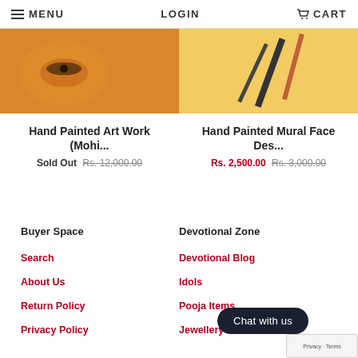≡ MENU   LOGIN   🛒 CART
[Figure (photo): Two product images side by side: left shows a hand-painted art work with orange/gold tones featuring a necklace motif; right shows a hand-painted mural face design with orange and cream tones.]
Hand Painted Art Work (Mohi...
Sold Out  Rs. 12,000.00
Hand Painted Mural Face Des...
Rs. 2,500.00  Rs. 3,000.00
Buyer Space
Devotional Zone
Search
Devotional Blog
About Us
Idols
Return Policy
Pooja Items
Privacy Policy
Jewellery